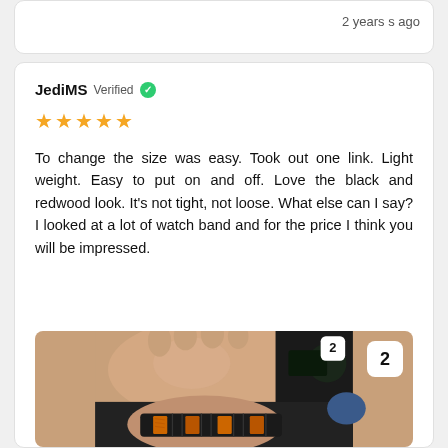2 years ago
JediMS Verified ✓
★★★★★ (5 stars)
To change the size was easy. Took out one link. Light weight. Easy to put on and off. Love the black and redwood look. It's not tight, not loose. What else can I say? I looked at a lot of watch band and for the price I think you will be impressed.
[Figure (photo): Photo of a wrist wearing a black and redwood watch band with orange wood inlay segments, with a number 2 badge in the top right corner.]